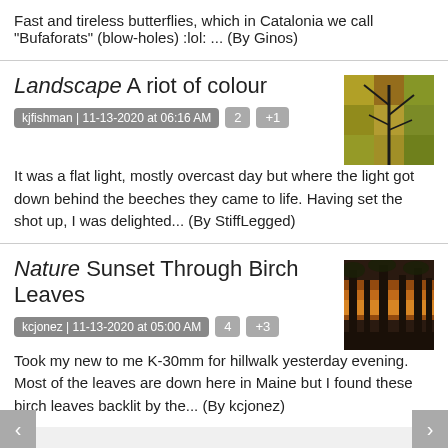Fast and tireless butterflies, which in Catalonia we call "Bufaforats" (blow-holes) :lol: ... (By Ginos)
Landscape A riot of colour
kjfishman | 11-13-2020 at 06:16 AM  2  +1
[Figure (photo): Autumn landscape photo with colorful leaves and tree silhouettes]
It was a flat light, mostly overcast day but where the light got down behind the beeches they came to life. Having set the shot up, I was delighted... (By StiffLegged)
Nature Sunset Through Birch Leaves
kcjonez | 11-13-2020 at 05:00 AM  4  +3
[Figure (photo): Sunset through birch leaves nature photo]
Took my new to me K-30mm for hillwalk yesterday evening. Most of the leaves are down here in Maine but I found these birch leaves backlit by the... (By kcjonez)